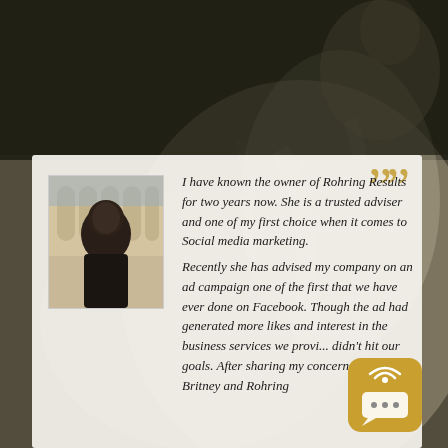[Figure (photo): Background photo of a fluffy animal (likely a cat or similar) with dark overlay at top. A semi-transparent white card overlays the lower portion. A small profile photo of a man is in the upper-left of the card.]
I have known the owner of Rohring Results for two years now. She is a trusted adviser and one of my first choice when it comes to Social media marketing. Recently she has advised my company on an ad campaign one of the first that we have ever done on Facebook. Though the ad had generated more likes and interest in the business services we provi... didn't hit our goals. After sharing my concerns with Britney and Rohring